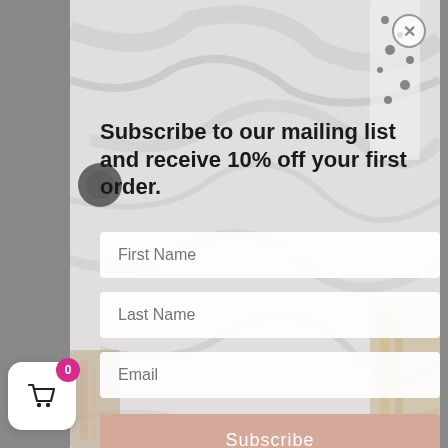[Figure (screenshot): A modal popup overlay on a website. The modal has a marble texture background with hair tools/brushes visible. It contains a promotional headline, three form input fields (First Name, Last Name, Email), and a Subscribe button. A close (X) button is in the top right. A shopping cart widget with a '0' badge is visible at the bottom left corner of the screen.]